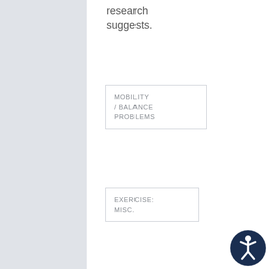research suggests.
MOBILITY / BALANCE PROBLEMS
EXERCISE: MISC.
DISABLED / SPECIAL NEEDS
AGING: MISC.
SENIORS